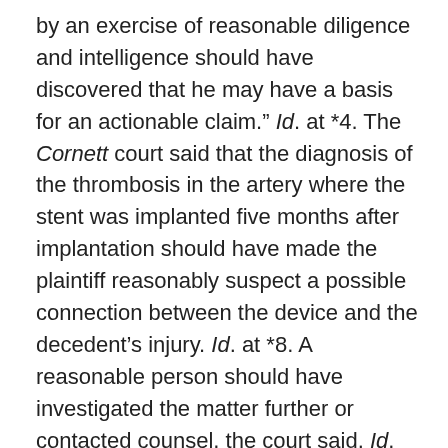by an exercise of reasonable diligence and intelligence should have discovered that he may have a basis for an actionable claim." Id. at *4. The Cornett court said that the diagnosis of the thrombosis in the artery where the stent was implanted five months after implantation should have made the plaintiff reasonably suspect a possible connection between the device and the decedent's injury. Id. at *8. A reasonable person should have investigated the matter further or contacted counsel, the court said. Id.
The icing on the discovery rule cake, the court reasoned, was that plaintiff alleged it was self-evident from the cause of death that the thrombosis formed within the stent. Id. The opinion doesn't say,